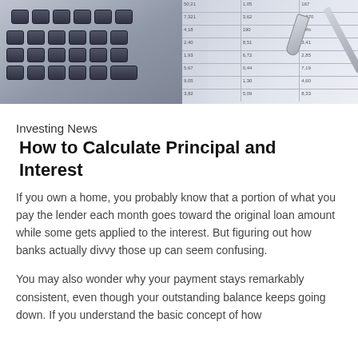[Figure (photo): Header photo showing a calculator with dark keys on the left, a spreadsheet with numbers in the background, and a metal key and pen on the right, in grey/blue tones.]
Investing News
How to Calculate Principal and Interest
If you own a home, you probably know that a portion of what you pay the lender each month goes toward the original loan amount while some gets applied to the interest. But figuring out how banks actually divvy those up can seem confusing.
You may also wonder why your payment stays remarkably consistent, even though your outstanding balance keeps going down. If you understand the basic concept of how